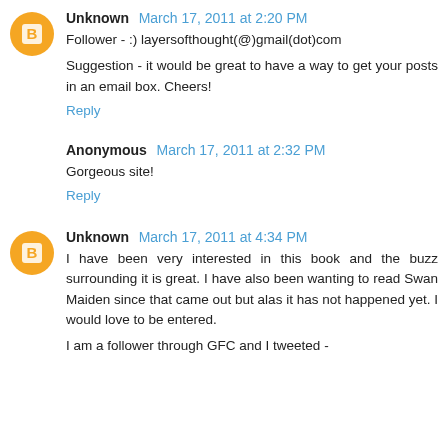Unknown March 17, 2011 at 2:20 PM
Follower - :) layersofthought(@)gmail(dot)com
Suggestion - it would be great to have a way to get your posts in an email box. Cheers!
Reply
Anonymous March 17, 2011 at 2:32 PM
Gorgeous site!
Reply
Unknown March 17, 2011 at 4:34 PM
I have been very interested in this book and the buzz surrounding it is great. I have also been wanting to read Swan Maiden since that came out but alas it has not happened yet. I would love to be entered.
I am a follower through GFC and I tweeted -